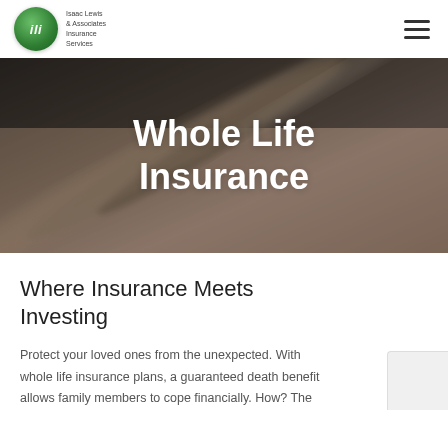ili — Isaac Lewis & Associates Insurance Services
[Figure (photo): Hero banner with blurred background photo showing hands or writing instruments, overlaid with large white bold text 'Whole Life Insurance']
Whole Life Insurance
Where Insurance Meets Investing
Protect your loved ones from the unexpected. With whole life insurance plans, a guaranteed death benefit allows family members to cope financially. How? The